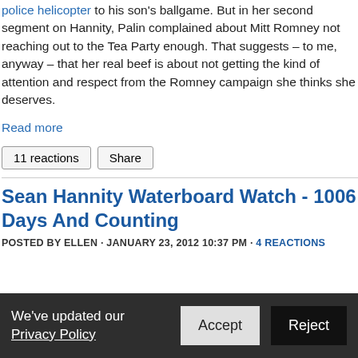police helicopter to his son's ballgame. But in her second segment on Hannity, Palin complained about Mitt Romney not reaching out to the Tea Party enough. That suggests – to me, anyway – that her real beef is about not getting the kind of attention and respect from the Romney campaign she thinks she deserves.
Read more
11 reactions   Share
Sean Hannity Waterboard Watch - 1006 Days And Counting
POSTED BY ELLEN · JANUARY 23, 2012 10:37 PM · 4 REACTIONS
We've updated our Privacy Policy  Accept  Reject